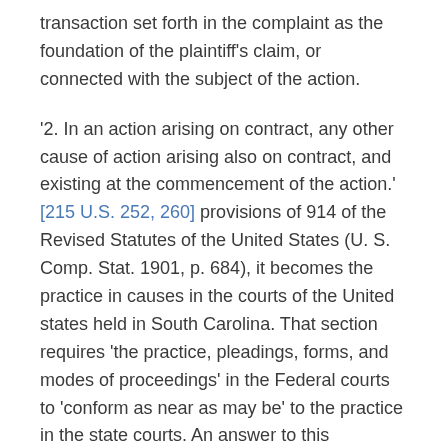transaction set forth in the complaint as the foundation of the plaintiff's claim, or connected with the subject of the action.
'2. In an action arising on contract, any other cause of action arising also on contract, and existing at the commencement of the action.' [215 U.S. 252, 260] provisions of 914 of the Revised Statutes of the United States (U. S. Comp. Stat. 1901, p. 684), it becomes the practice in causes in the courts of the United states held in South Carolina. That section requires 'the practice, pleadings, forms, and modes of proceedings' in the Federal courts to 'conform as near as may be' to the practice in the state courts. An answer to this contention is that the supreme court of the State did not so construe the Code of Procedure. On the effect of the judgment of the circuit court of the United States as res judicata the court divided, but three members of the court must have